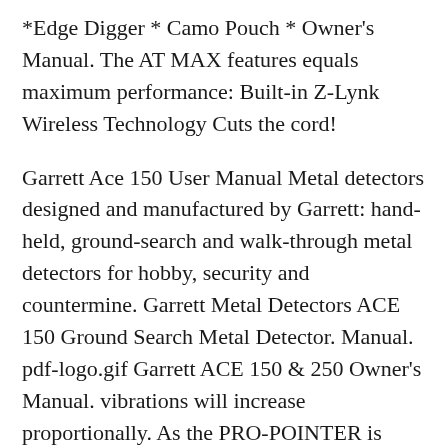*Edge Digger * Camo Pouch * Owner's Manual. The AT MAX features equals maximum performance: Built-in Z-Lynk Wireless Technology Cuts the cord!
Garrett Ace 150 User Manual Metal detectors designed and manufactured by Garrett: hand-held, ground-search and walk-through metal detectors for hobby, security and countermine. Garrett Metal Detectors ACE 150 Ground Search Metal Detector. Manual. pdf-logo.gif Garrett ACE 150 & 250 Owner's Manual. vibrations will increase proportionally. As the PRO-POINTER is moved away from the metallic object, the rate of the pulsing audio and vibrations will decrease. This unique Garrett feature helps the user